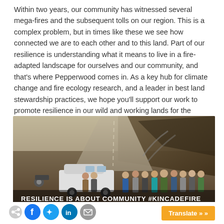Within two years, our community has witnessed several mega-fires and the subsequent tolls on our region. This is a complex problem, but in times like these we see how connected we are to each other and to this land. Part of our resilience is understanding what it means to live in a fire-adapted landscape for ourselves and our community, and that's where Pepperwood comes in. As a key hub for climate change and fire ecology research, and a leader in best land stewardship practices, we hope you'll support our work to promote resilience in our wild and working lands for the benefit of our region and communities.
[Figure (photo): Group of people standing on a dirt road in a fire-affected landscape with hills in the background, beside a white van. Text overlay reads: RESILIENCE IS ABOUT COMMUNITY #KINCADEFIRE]
RESILIENCE IS ABOUT COMMUNITY #KINCADEFIRE